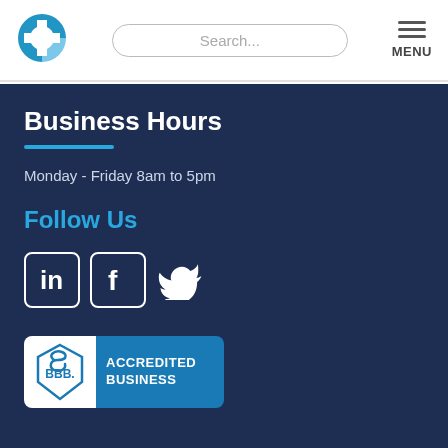[Figure (logo): Blue and white circular logo with cross/plus shape]
Search...
[Figure (other): Hamburger menu icon with MENU label]
Business Hours
Monday - Friday 8am to 5pm
Follow Us
[Figure (other): LinkedIn, Facebook, and Twitter social media icons]
[Figure (logo): BBB Accredited Business badge]